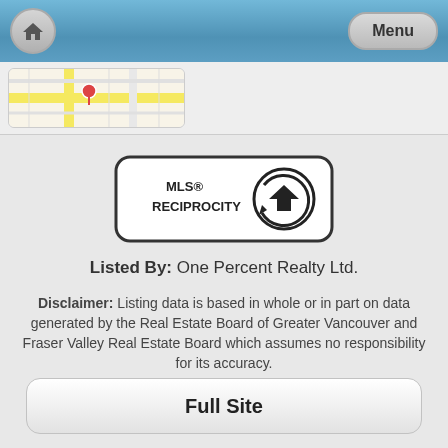Home | Menu
[Figure (map): Partial map thumbnail showing street map with yellow road and location marker]
[Figure (logo): MLS Reciprocity logo with house icon in circular arrow]
Listed By: One Percent Realty Ltd.
Disclaimer: Listing data is based in whole or in part on data generated by the Real Estate Board of Greater Vancouver and Fraser Valley Real Estate Board which assumes no responsibility for its accuracy.
RA Realty Alliance Inc.
209-3103 Kingsway, Vancouver BC
Full Site